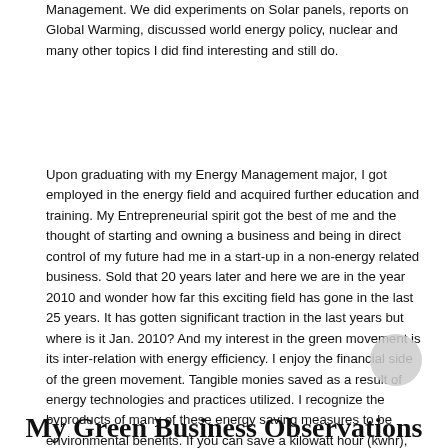Management.  We did experiments on Solar panels, reports on Global Warming, discussed world energy policy, nuclear and many other topics I did find interesting and still do.
Upon graduating with my Energy Management major, I got employed in the energy field and acquired further education and training.  My Entrepreneurial spirit got the best of me and the thought of starting and owning a business and being in direct control of my future had me in a start-up in a non-energy related business.  Sold that 20 years later and here we are in the year 2010 and wonder how far this exciting field has gone in the last 25 years.  It has gotten significant traction in the last years but where is it Jan. 2010?  And my interest in the green movement is its inter-relation with energy efficiency.  I enjoy the financial side of the green movement.  Tangible monies saved as a result of energy technologies and practices utilized.  I recognize the byproducts of many of these energy saving measures to be environmental benefits.  If you can save a kilowatt hour (kwhr), and that kwhr doesn't need to be produced by a coal burning power plant, you have dual benefits.
My Green Business Observations